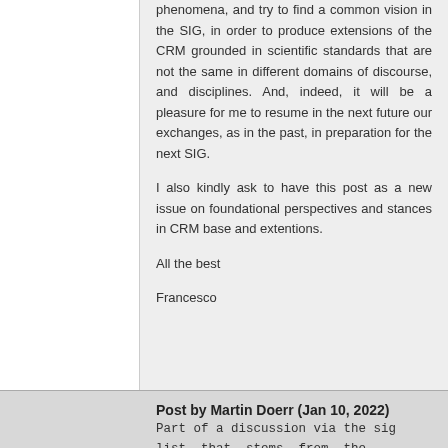phenomena, and try to find a common vision in the SIG, in order to produce extensions of the CRM grounded in scientific standards that are not the same in different domains of discourse, and disciplines. And, indeed, it will be a pleasure for me to resume in the next future our exchanges, as in the past, in preparation for the next SIG.
I also kindly ask to have this post as a new issue on foundational perspectives and stances in CRM base and extentions.
All the best
Francesco
Post by Martin Doerr (Jan 10, 2022)
Part of a discussion via the sig list that stems from the proposal to introduce properties assigning generic outcomes to activities, which can inform